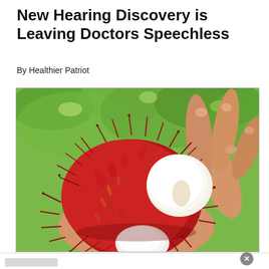New Hearing Discovery is Leaving Doctors Speechless
By Healthier Patriot
[Figure (photo): A hand holding an opened rambutan fruit showing the red spiky exterior and white interior flesh, with green foliage in the background.]
World's largest online restaurant supplier
Popular Restaurant Supply Brands
www.webstaurantstore.com